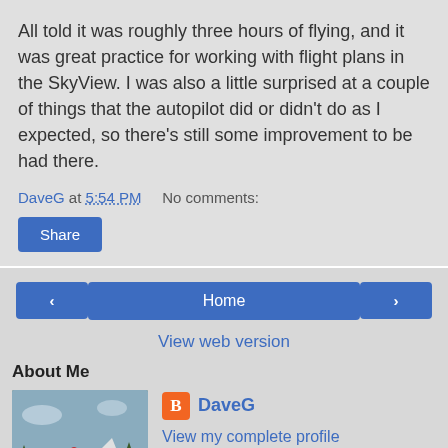All told it was roughly three hours of flying, and it was great practice for working with flight plans in the SkyView. I was also a little surprised at a couple of things that the autopilot did or didn't do as I expected, so there's still some improvement to be had there.
DaveG at 5:54 PM   No comments:
Share
Home
View web version
About Me
[Figure (photo): Airplane photo - white military-style airplane on ground with mountains in background]
DaveG
View my complete profile
Powered by Blogger.